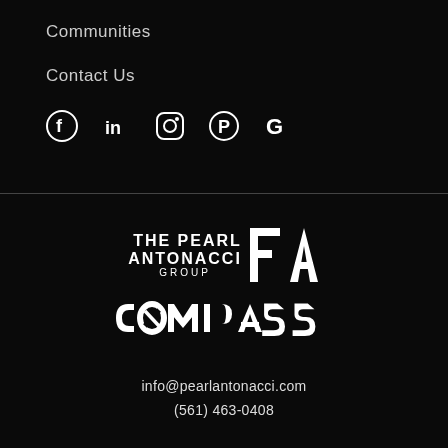Communities
Contact Us
[Figure (other): Social media icons: Facebook, LinkedIn, Instagram, Pinterest, Google]
[Figure (logo): The Pearl Antonacci Group logo with PA monogram and Compass logo below]
info@pearlantonacci.com
(561) 463-0408